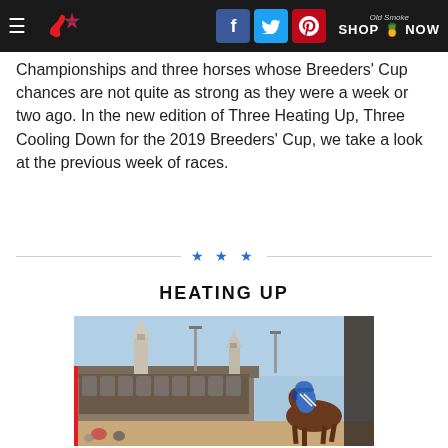Navigation bar with logo, social media icons (Facebook, Twitter, Pinterest), and Shop Now link
Championships and three horses whose Breeders' Cup chances are not quite as strong as they were a week or two ago. In the new edition of Three Heating Up, Three Cooling Down for the 2019 Breeders' Cup, we take a look at the previous week of races.
HEATING UP
[Figure (photo): A jockey on horseback at Churchill Downs racetrack, with the iconic twin spires visible in the background under a blue sky.]